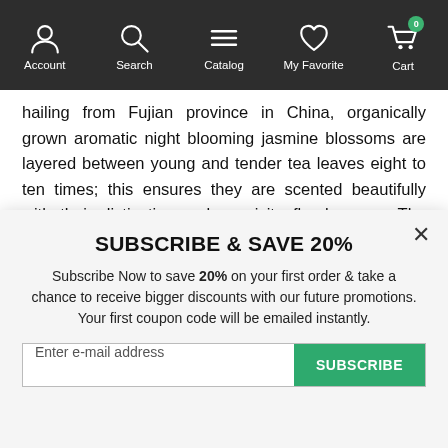Account | Search | Catalog | My Favorite | Cart
hailing from Fujian province in China, organically grown aromatic night blooming jasmine blossoms are layered between young and tender tea leaves eight to ten times; this ensures they are scented beautifully with their distinctive and exquisite floral aroma. The infused Chinese tea is then rolled at a ratio of two leaves to one unopened bud into small pearls, with a delicate silvery white sheen, thanks to the soft silver down of these
SUBSCRIBE & SAVE 20%
Subscribe Now to save 20% on your first order & take a chance to receive bigger discounts with our future promotions. Your first coupon code will be emailed instantly.
Enter e-mail address  SUBSCRIBE
THIS IS HOW TO DO IT: